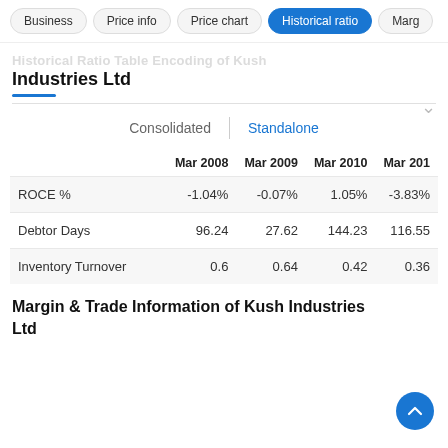Business | Price info | Price chart | Historical ratio | Marg
Historical Ratio Table Encoding of Kush Industries Ltd
Consolidated | Standalone
|  | Mar 2008 | Mar 2009 | Mar 2010 | Mar 201 |
| --- | --- | --- | --- | --- |
| ROCE % | -1.04% | -0.07% | 1.05% | -3.83% |
| Debtor Days | 96.24 | 27.62 | 144.23 | 116.55 |
| Inventory Turnover | 0.6 | 0.64 | 0.42 | 0.36 |
Margin & Trade Information of Kush Industries Ltd